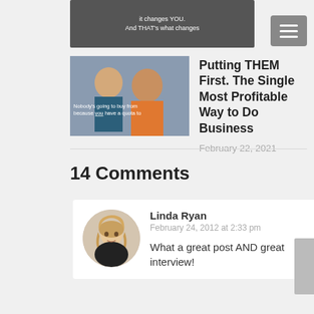[Figure (photo): Partial image from previous article entry showing text overlay]
[Figure (photo): Thumbnail image for article showing two people, one in orange shirt, with text overlay: Nobody's going to buy from you because you have a quota to]
Putting THEM First. The Single Most Profitable Way to Do Business
February 22, 2021
14 Comments
[Figure (photo): Avatar photo of Linda Ryan, a blonde woman]
Linda Ryan
February 24, 2012 at 2:33 pm
What a great post AND great interview!